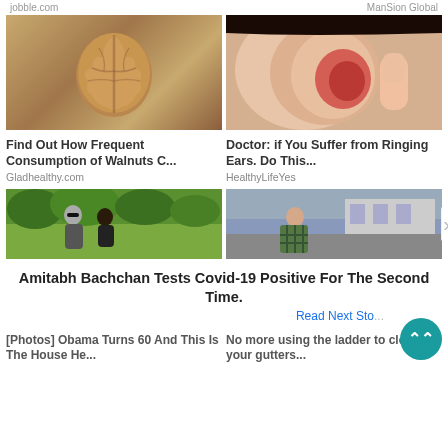jobble.com    ManSion Global
[Figure (photo): Close-up of a walnut]
[Figure (photo): Close-up of a human ear with redness, finger pointing at it]
Find Out How Frequent Consumption of Walnuts C...
Gladhealthy.com
Doctor: if You Suffer from Ringing Ears. Do This...
HealthyLifeYes
[Figure (photo): Outdoor photo of two people, lush greenery in background]
[Figure (photo): Street photo with person wearing plaid shirt near building]
Amitabh Bachchan Tests Covid-19 Positive For The Second Time.
Read Next Sto...
[Photos] Obama Turns 60 And This Is The House He...
No more using the ladder to clean your gutters...